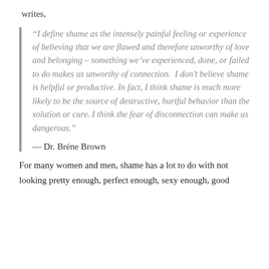writes,
“I define shame as the intensely painful feeling or experience of believing that we are flawed and therefore unworthy of love and belonging – something we’ve experienced, done, or failed to do makes us unworthy of connection. I don’t believe shame is helpful or productive. In fact, I think shame is much more likely to be the source of destructive, hurtful behavior than the solution or cure. I think the fear of disconnection can make us dangerous.”
— Dr. Bréne Brown
For many women and men, shame has a lot to do with not looking pretty enough, perfect enough, sexy enough, good